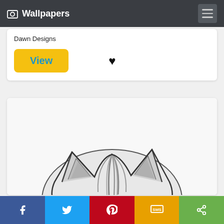Wallpapers
Dawn Designs
View
[Figure (photo): Black and white pencil drawing of a cat viewed from above/behind, showing the top of its striped head and two pointed ears]
Share buttons: Facebook, Twitter, Pinterest, SMS, More